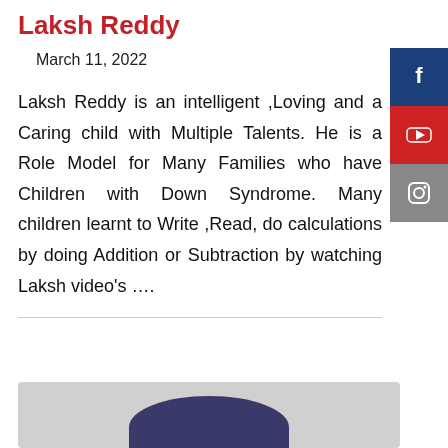Laksh Reddy
March 11, 2022
Laksh Reddy is an intelligent ,Loving and a Caring child with Multiple Talents. He is a Role Model for Many Families who have Children with Down Syndrome. Many children learnt to Write ,Read, do calculations by doing Addition or Subtraction by watching Laksh video’s ….
[Figure (photo): Partial view of a person (silhouette/top of head visible at bottom of page)]